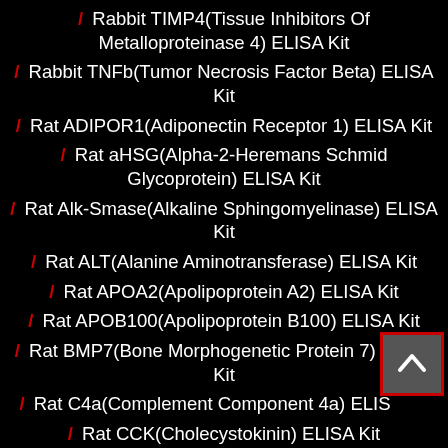/ Rabbit TIMP4(Tissue Inhibitors Of Metalloproteinase 4) ELISA Kit
/ Rabbit TNFb(Tumor Necrosis Factor Beta) ELISA Kit
/ Rat ADIPOR1(Adiponectin Receptor 1) ELISA Kit
/ Rat aHSG(Alpha-2-Heremans Schmid Glycoprotein) ELISA Kit
/ Rat Alk-Smase(Alkaline Sphingomyelinase) ELISA Kit
/ Rat ALT(Alanine Aminotransferase) ELISA Kit
/ Rat APOA2(Apolipoprotein A2) ELISA Kit
/ Rat APOB100(Apolipoprotein B100) ELISA Kit
/ Rat BMP7(Bone Morphogenetic Protein 7) ELISA Kit
/ Rat C4a(Complement Component 4a) ELISA Kit
/ Rat CCK(Cholecystokinin) ELISA Kit
/ Rat CKMB(Creatine Kinase MB Isoenzyme) ELISA Kit
/ Rat COL1(Collagen Type I) ELISA Kit